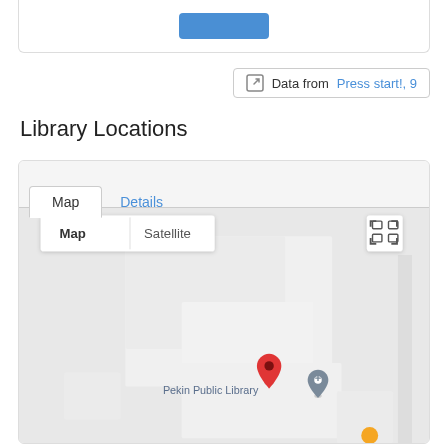[Figure (screenshot): Top card with a blue button, partially cut off at top]
Data from Press start!, 9
Library Locations
[Figure (map): Google Map showing Pekin Public Library location with a red pin marker, Map/Satellite toggle, and fullscreen button. Broadway St label visible at top. A gray location pin also visible near the library.]